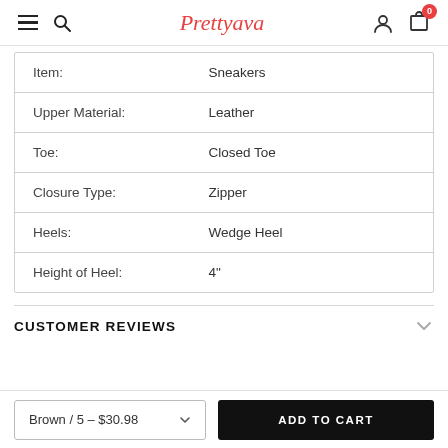Prettyava — navigation bar with hamburger menu, search, user icon, cart (0)
| Item: | Sneakers |
| Upper Material: | Leather |
| Toe: | Closed Toe |
| Closure Type: | Zipper |
| Heels: | Wedge Heel |
| Height of Heel: | 4" |
CUSTOMER REVIEWS
Brown / 5 – $30.98 ▾   ADD TO CART